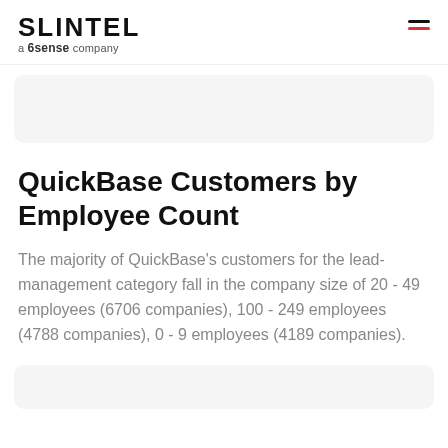SLINTEL a 6sense company
QuickBase Customers by Employee Count
The majority of QuickBase’s customers for the lead-management category fall in the company size of 20 - 49 employees (6706 companies), 100 - 249 employees (4788 companies), 0 - 9 employees (4189 companies).